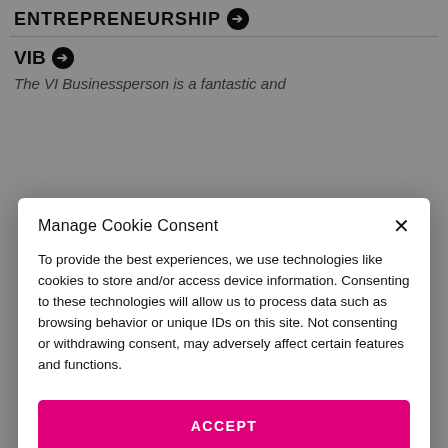ENTREPRENEURSHIP ➔
VIB ➔
The VI Businessperson is a fantastic and…
Manage Cookie Consent
To provide the best experiences, we use technologies like cookies to store and/or access device information. Consenting to these technologies will allow us to process data such as browsing behavior or unique IDs on this site. Not consenting or withdrawing consent, may adversely affect certain features and functions.
ACCEPT
DENY
VIEW PREFERENCES
Terms & Conditions